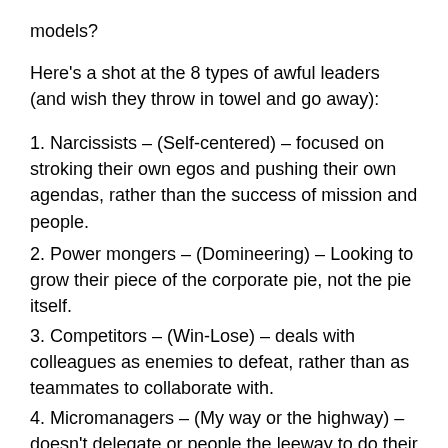models?
Here’s a shot at the 8 types of awful leaders (and wish they throw in towel and go away):
1. Narcissists – (Self-centered) – focused on stroking their own egos and pushing their own agendas, rather than the success of mission and people.
2. Power mongers – (Domineering) – Looking to grow their piece of the corporate pie, not the pie itself.
3. Competitors – (Win-Lose) – deals with colleagues as enemies to defeat, rather than as teammates to collaborate with.
4. Micromanagers – (My way or the highway) – doesn’t delegate or people the leeway to do their jobs, rather tells them how to do it the right and only way.
5. Insecure babies – (Lacking in self-confidence) –